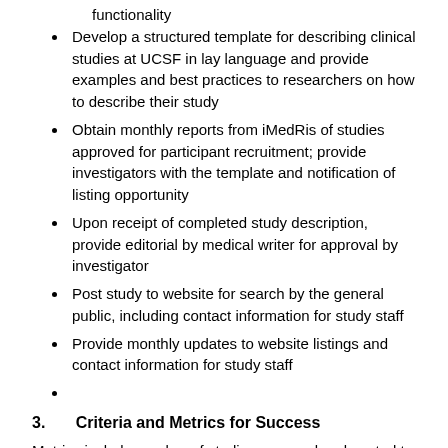functionality
Develop a structured template for describing clinical studies at UCSF in lay language and provide examples and best practices to researchers on how to describe their study
Obtain monthly reports from iMedRis of studies approved for participant recruitment; provide investigators with the template and notification of listing opportunity
Upon receipt of completed study description, provide editorial by medical writer for approval by investigator
Post study to website for search by the general public, including contact information for study staff
Provide monthly updates to website listings and contact information for study staff
3.    Criteria and Metrics for Success
Metrics include number of studies engaged and posted to website (interventional clinical trial vs. non), number of searches per month, number of studies accurately reflective of currently enrolling studies at UCSF per iMedRis as compared to ClinicalTrials.gov listings at quarterly time points.